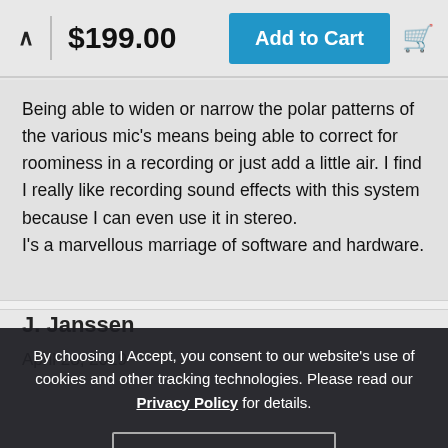$199.00  Add to Cart
Being able to widen or narrow the polar patterns of the various mic's means being able to correct for roominess in a recording or just add a little air. I find I really like recording sound effects with this system because I can even use it in stereo.
I's a marvellous marriage of software and hardware.
J. Janssen
April 28, 2019
By choosing I Accept, you consent to our website's use of cookies and other tracking technologies. Please read our Privacy Policy for details.
I Accept